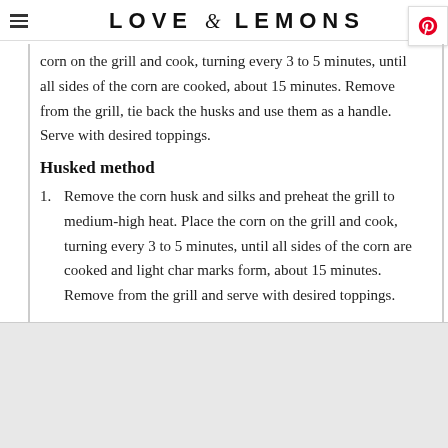LOVE & LEMONS
corn on the grill and cook, turning every 3 to 5 minutes, until all sides of the corn are cooked, about 15 minutes. Remove from the grill, tie back the husks and use them as a handle. Serve with desired toppings.
Husked method
Remove the corn husk and silks and preheat the grill to medium-high heat. Place the corn on the grill and cook, turning every 3 to 5 minutes, until all sides of the corn are cooked and light char marks form, about 15 minutes. Remove from the grill and serve with desired toppings.